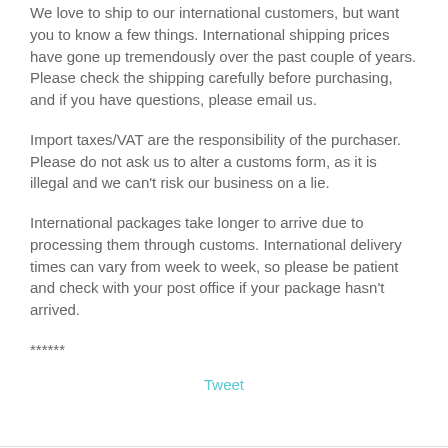We love to ship to our international customers, but want you to know a few things. International shipping prices have gone up tremendously over the past couple of years. Please check the shipping carefully before purchasing, and if you have questions, please email us.
Import taxes/VAT are the responsibility of the purchaser. Please do not ask us to alter a customs form, as it is illegal and we can't risk our business on a lie.
International packages take longer to arrive due to processing them through customs. International delivery times can vary from week to week, so please be patient and check with your post office if your package hasn't arrived.
******
Tweet